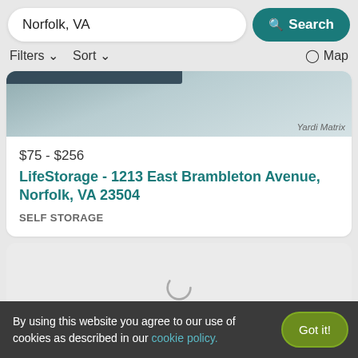Norfolk, VA
Search
Filters  Sort  Map
[Figure (photo): Partial image of a storage facility building exterior, partially cut off at top of card]
$75 - $256
LifeStorage - 1213 East Brambleton Avenue, Norfolk, VA 23504
SELF STORAGE
[Figure (other): Loading spinner indicating content is being fetched]
By using this website you agree to our use of cookies as described in our cookie policy.
Got it!